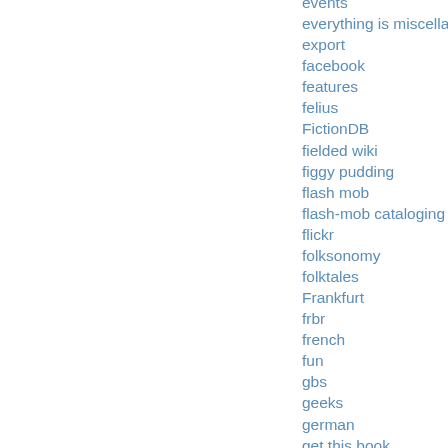events
everything is miscellaneous
export
facebook
features
felius
FictionDB
fielded wiki
figgy pudding
flash mob
flash-mob cataloging
flickr
folksonomy
folktales
Frankfurt
frbr
french
fun
gbs
geeks
german
get this book
gifts
Giovanni
google
google book search
grand central publishing
greek
gregory maguire
group tags
groups